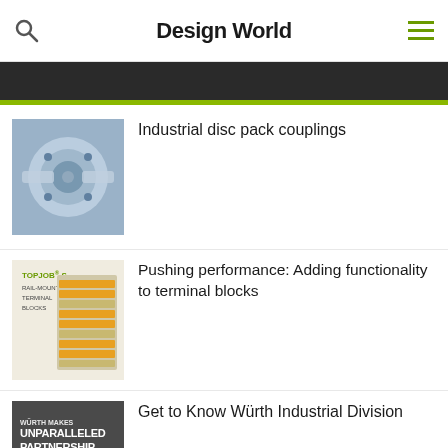Design World
[Figure (photo): Industrial disc pack couplings - metallic mechanical coupling component]
Industrial disc pack couplings
[Figure (photo): TOPJOB S Rail-Mount Terminal Blocks - Pushing performance: Adding functionality to terminal blocks]
Pushing performance: Adding functionality to terminal blocks
[Figure (photo): Wurth Industrial Division ad - Wurth Makes Unparalleled Partnership Possible]
Get to Know Würth Industrial Division